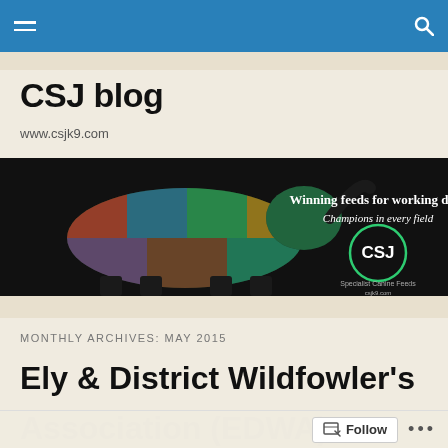CSJ blog navigation bar
CSJ blog
www.csjk9.com
[Figure (photo): CSJ Specialist Canine Feeds banner advertisement on black background. Left side shows a dog silhouette filled with collage photos of working dogs and handlers. Right side shows text 'Winning feeds for working dogs' and 'Champions in every field' with CSJ logo circle and text 'Specialist Canine Feeds csjk9.com']
MONTHLY ARCHIVES: MAY 2015
Ely & District Wildfowler's Association (EDWA) …